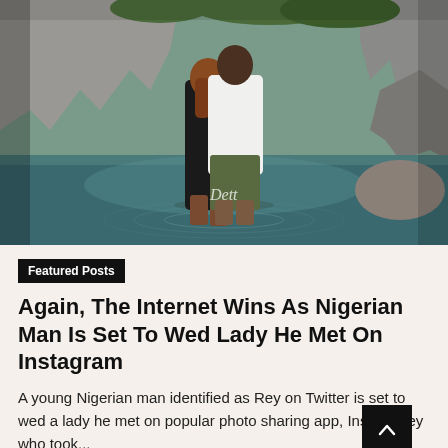[Figure (photo): A couple standing in shallow water with rocky cliffs and green trees in background. Woman with auburn hair in black outfit, man in white shirt and olive shorts, embracing. Watermark 'Dett' in cursive at bottom center.]
Featured Posts
Again, The Internet Wins As Nigerian Man Is Set To Wed Lady He Met On Instagram
A young Nigerian man identified as Rey on Twitter is set to wed a lady he met on popular photo sharing app, Insta... Rey who took...